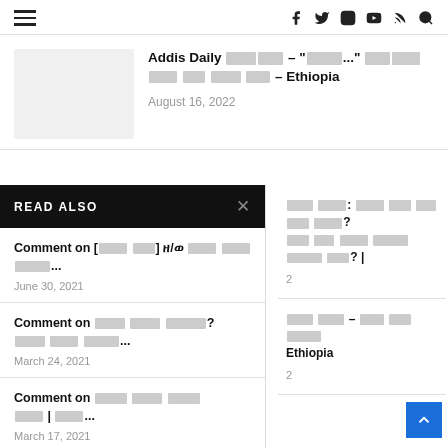Navigation header with hamburger menu and social icons (facebook, twitter, instagram, youtube, rss, search)
Addis Daily [Ethiopic text] – "[Ethiopic text]..." [Ethiopic text] – Ethiopia
August 16, 2022
READ ALSO
Comment on [Ethiopic text] ዘ/ወ Ethiopic text...
June 30, 2021
Comment on Ethiopic text?
Ethiopic text...
March 24, 2021
Comment on Ethiopic text
Ethiopic text | Ethiopic...
March 17, 2021
Ethiopic text: Ethiopic text? Ethiopic text Ethiopic text? |
Ethiopic text – Ethiopic text Ethiopia
[Figure (other): Blue back-to-top arrow button]